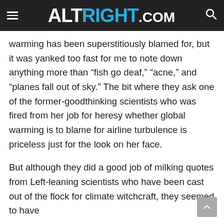ALTRIGHT.COM
warming has been superstitiously blamed for, but it was yanked too fast for me to note down anything more than “fish go deaf,” “acne,” and “planes fall out of sky.” The bit where they ask one of the former-goodthinking scientists who was fired from her job for heresy whether global warming is to blame for airline turbulence is priceless just for the look on her face.
But although they did a good job of milking quotes from Left-leaning scientists who have been cast out of the flock for climate witchcraft, they seemed to have